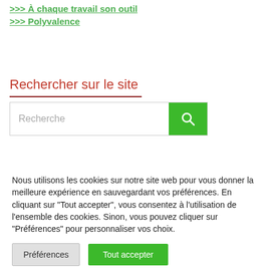>>> À chaque travail son outil
>>> Polyvalence
Rechercher sur le site
Recherche
Nous utilisons les cookies sur notre site web pour vous donner la meilleure expérience en sauvegardant vos préférences. En cliquant sur "Tout accepter", vous consentez à l'utilisation de l'ensemble des cookies. Sinon, vous pouvez cliquer sur "Préférences" pour personnaliser vos choix.
Préférences
Tout accepter